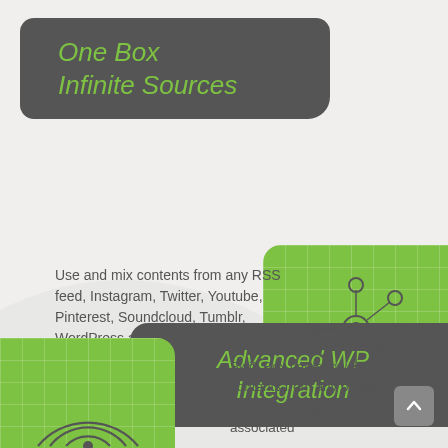One Box
Infinite Sources
Use and mix contents from any RSS feed, Instagram, Twitter, Youtube, Pinterest, Soundcloud, Tumblr, WordPress and Zapier.
[Figure (illustration): Network/hub icon showing a central circle connected to six surrounding circles, drawn in dark gray outline style, on a green grid background]
Every box can fetch news from unlimited sources!
Advanced WP
Integration
[Figure (illustration): Concentric arc/signal icon drawn in dark gray outline style on a green grid background at the bottom left]
Swift Box can show contents from any public custom post type, associated